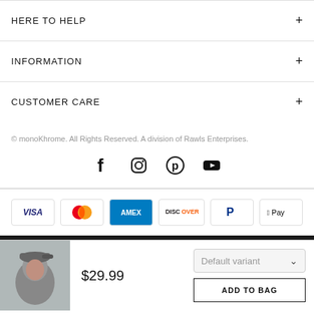HERE TO HELP
INFORMATION
CUSTOMER CARE
© monoKhrome. All Rights Reserved. A division of Rawls Enterprises.
[Figure (infographic): Social media icons: Facebook, Instagram, Pinterest, YouTube]
[Figure (infographic): Payment method icons: Visa, Mastercard, Amex, Discover, PayPal, Apple Pay]
[Figure (photo): Product thumbnail: person wearing a grey baseball cap]
$29.99
Default variant
ADD TO BAG